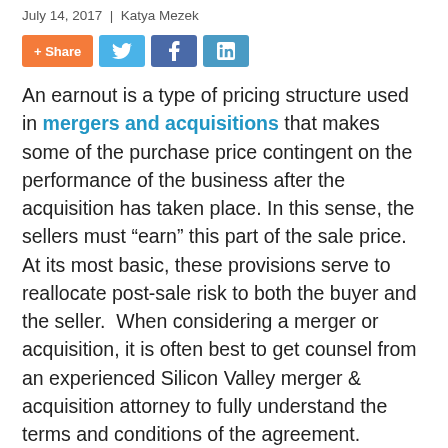July 14, 2017  |  Katya Mezek
[Figure (other): Social share buttons: + Share, Twitter, Facebook, LinkedIn]
An earnout is a type of pricing structure used in mergers and acquisitions that makes some of the purchase price contingent on the performance of the business after the acquisition has taken place. In this sense, the sellers must “earn” this part of the sale price. At its most basic, these provisions serve to reallocate post-sale risk to both the buyer and the seller.  When considering a merger or acquisition, it is often best to get counsel from an experienced Silicon Valley merger & acquisition attorney to fully understand the terms and conditions of the agreement.
When Are Earnouts